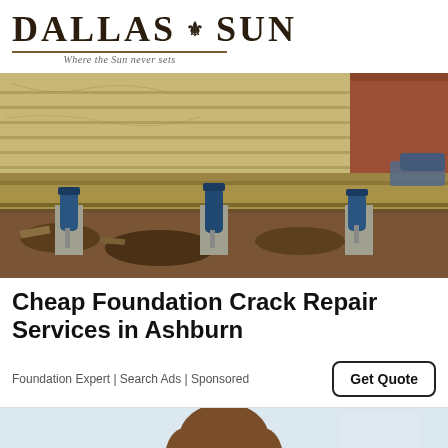DALLAS SUN — Where the Sun never sets
[Figure (photo): Photograph of a house foundation being repaired with hydraulic jacks/piers supporting the wooden beam structure underneath, with dirt and debris visible below]
Cheap Foundation Crack Repair Services in Ashburn
Foundation Expert | Search Ads | Sponsored
Get Quote
[Figure (photo): Partial view of a person with brown hair, appears to be a dental or medical related photo]